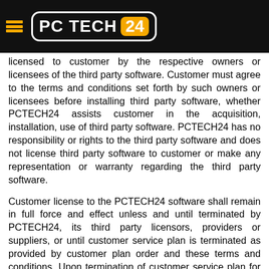PC TECH 24
licensed to customer by the respective owners or licensees of the third party software. Customer must agree to the terms and conditions set forth by such owners or licensees before installing third party software, whether PCTECH24 assists customer in the acquisition, installation, use of third party software. PCTECH24 has no responsibility or rights to the third party software and does not license third party software to customer or make any representation or warranty regarding the third party software.
Customer license to the PCTECH24 software shall remain in full force and effect unless and until terminated by PCTECH24, its third party licensors, providers or suppliers, or until customer service plan is terminated as provided by customer plan order and these terms and conditions. Upon termination of customer service plan for any reason, customer must cease all use of the service plan and the PCTECH24 software and immediately delete the PCTECH24 software from customer computer.
To the extent that we provide technical assistance and support for third party software or equipment, customer must ensure that customer comply with the terms and conditions